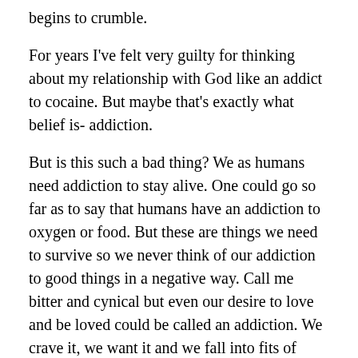begins to crumble.
For years I've felt very guilty for thinking about my relationship with God like an addict to cocaine. But maybe that's exactly what belief is- addiction.
But is this such a bad thing? We as humans need addiction to stay alive. One could go so far as to say that humans have an addiction to oxygen or food. But these are things we need to survive so we never think of our addiction to good things in a negative way. Call me bitter and cynical but even our desire to love and be loved could be called an addiction. We crave it, we want it and we fall into fits of depression when we don't get it. I think in one sense that's what Nietzsche was talking about. But getting back to the point, even if a belief in God is an addiction, is that really a bad